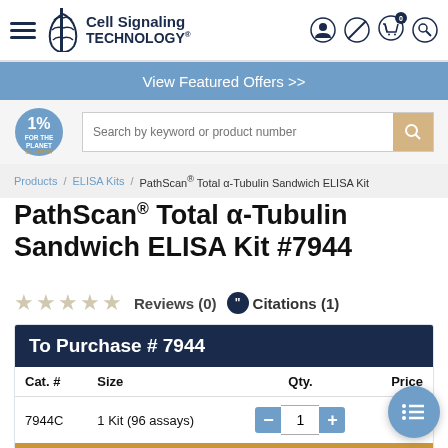Cell Signaling Technology
View Featured Offers >>
PathScan® Total α-Tubulin Sandwich ELISA Kit #7944
★★★★★ Reviews (0)  Citations (1)
| Cat. # | Size | Qty. | Price |
| --- | --- | --- | --- |
| 7944C | 1 Kit (96 assays) | 1 | $ |
ADD TO BASKET